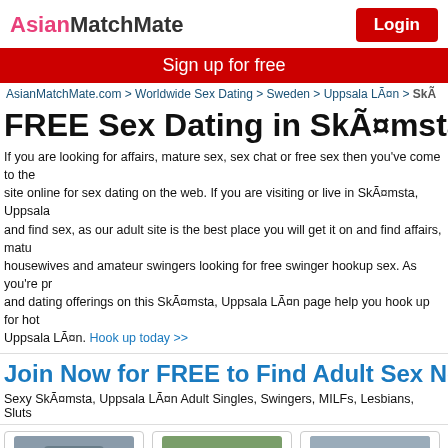AsianMatchMate | Login
Sign up for free
AsianMatchMate.com > Worldwide Sex Dating > Sweden > Uppsala LÃ¤n > SkÃ
FREE Sex Dating in SkÃ¤msta,
If you are looking for affairs, mature sex, sex chat or free sex then you've come to the site online for sex dating on the web. If you are visiting or live in SkÃ¤msta, Uppsala and find sex, as our adult site is the best place you will get it on and find affairs, matu housewives and amateur swingers looking for free swinger hookup sex. As you're pr and dating offerings on this SkÃ¤msta, Uppsala LÃ¤n page help you hook up for hot Uppsala LÃ¤n. Hook up today >>
Join Now for FREE to Find Adult Sex Near Ska
Sexy SkÃ¤msta, Uppsala LÃ¤n Adult Singles, Swingers, MILFs, Lesbians, Sluts
[Figure (photo): Profile photo of rm_newforyou20]
[Figure (photo): Profile photo of Sunooshine]
[Figure (photo): Profile photo of Anna_panna80]